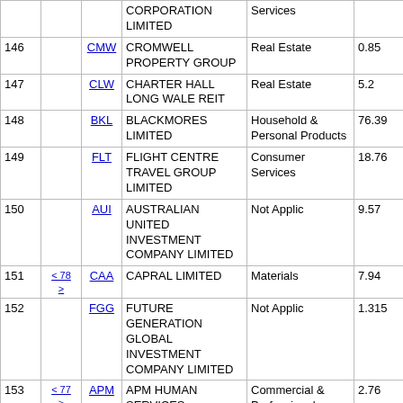| # |  | Sym | Name | Sector | Price | Volume |
| --- | --- | --- | --- | --- | --- | --- |
|  |  |  | CORPORATION LIMITED | Services |  |  |
| 146 |  | CMW | CROMWELL PROPERTY GROUP | Real Estate | 0.85 | 3,136,… |
| 147 |  | CLW | CHARTER HALL LONG WALE REIT | Real Estate | 5.2 | 43,201,… |
| 148 |  | BKL | BLACKMORES LIMITED | Household & Personal Products | 76.39 | 4,294,… |
| 149 |  | FLT | FLIGHT CENTRE TRAVEL GROUP LIMITED | Consumer Services | 18.76 | 23,320,… |
| 150 |  | AUI | AUSTRALIAN UNITED INVESTMENT COMPANY LIMITED | Not Applic | 9.57 | 154,… |
| 151 | < 78 > | CAA | CAPRAL LIMITED | Materials | 7.94 | 25,… |
| 152 |  | FGG | FUTURE GENERATION GLOBAL INVESTMENT COMPANY LIMITED | Not Applic | 1.315 | 307,… |
| 153 | < 77 > | APM | APM HUMAN SERVICES INTERNATIONAL LIMITED | Commercial & Professional Services | 2.76 | 1,515,… |
| 154 |  | CNI | CENTURIA CAPITAL GROUP | Real Estate | 2.96 | 3,946,… |
| 155 |  | BSL | BLUESCOPE STEEL | Materials | 19.22 | 34,571… |